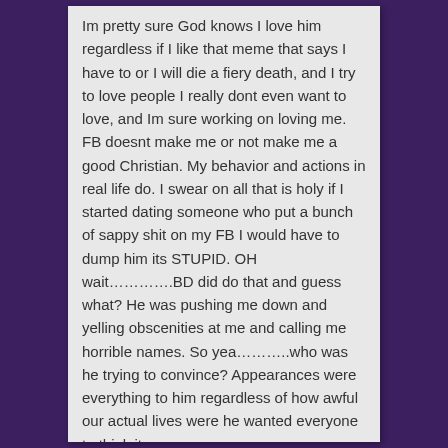Im pretty sure God knows I love him regardless if I like that meme that says I have to or I will die a fiery death, and I try to love people I really dont even want to love, and Im sure working on loving me. FB doesnt make me or not make me a good Christian. My behavior and actions in real life do. I swear on all that is holy if I started dating someone who put a bunch of sappy shit on my FB I would have to dump him its STUPID. OH wait………….BD did do that and guess what? He was pushing me down and yelling obscenities at me and calling me horrible names. So yea………..who was he trying to convince? Appearances were everything to him regardless of how awful our actual lives were he wanted everyone to think it was